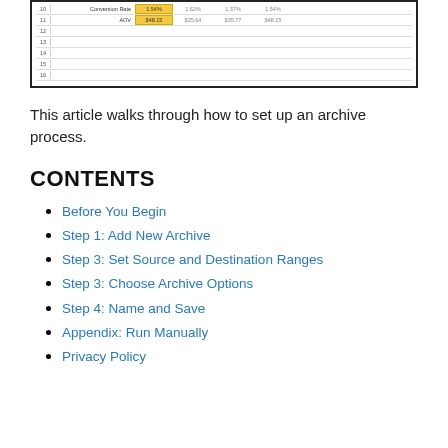[Figure (screenshot): Screenshot of a spreadsheet or data table showing rows 10-16 with Conversion Rate (1.54%, 1.62%, 1.37%, 1.54%) and AOV ($48.15, $25.64, $35.77, $48.15) values, with some cells highlighted in yellow/gold.]
This article walks through how to set up an archive process.
CONTENTS
Before You Begin
Step 1: Add New Archive
Step 3: Set Source and Destination Ranges
Step 3: Choose Archive Options
Step 4: Name and Save
Appendix: Run Manually
Privacy Policy